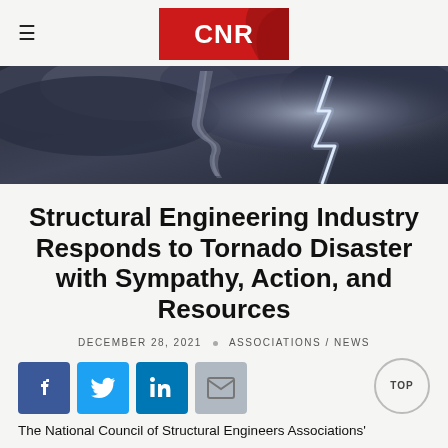CNR
[Figure (photo): Dark stormy sky with tornado funnel and lightning bolt]
Structural Engineering Industry Responds to Tornado Disaster with Sympathy, Action, and Resources
DECEMBER 28, 2021 · ASSOCIATIONS / NEWS
[Figure (infographic): Social share buttons: Facebook, Twitter, LinkedIn, Email; TOP button]
The National Council of Structural Engineers Associations'